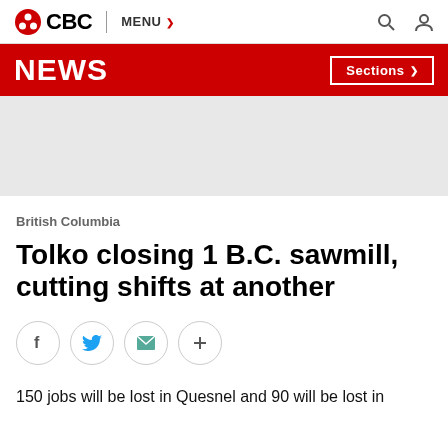CBC | MENU
NEWS | Sections
[Figure (other): Grey advertisement placeholder banner]
British Columbia
Tolko closing 1 B.C. sawmill, cutting shifts at another
[Figure (other): Social share buttons: Facebook, Twitter, Email, More]
150 jobs will be lost in Quesnel and 90 will be lost in